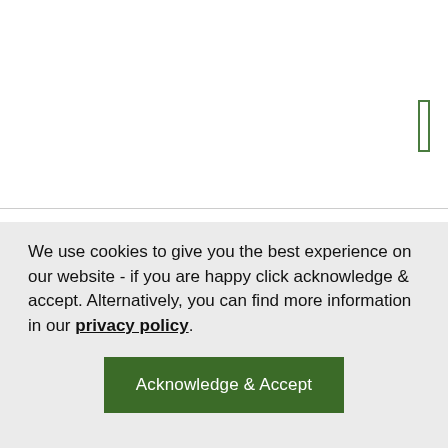process means that Lubron Ecotef will penetrate, protect and lubricate in areas where other products fail.
We use cookies to give you the best experience on our website - if you are happy click acknowledge & accept. Alternatively, you can find more information in our privacy policy.
Acknowledge & Accept